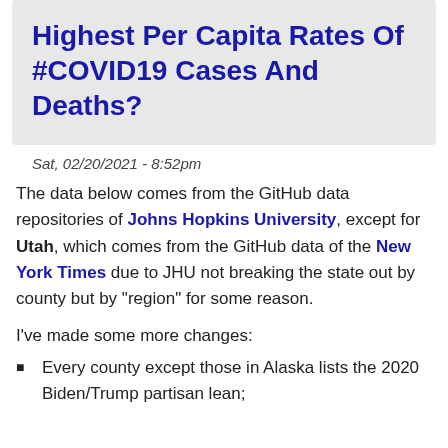Highest Per Capita Rates Of #COVID19 Cases And Deaths?
Sat, 02/20/2021 - 8:52pm
The data below comes from the GitHub data repositories of Johns Hopkins University, except for Utah, which comes from the GitHub data of the New York Times due to JHU not breaking the state out by county but by "region" for some reason.
I've made some more changes:
Every county except those in Alaska lists the 2020 Biden/Trump partisan lean;